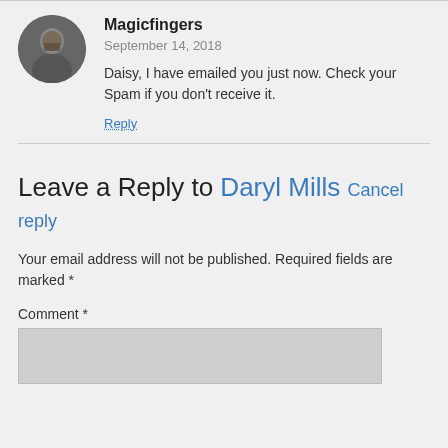[Figure (photo): Circular avatar photo of a bearded man]
Magicfingers
September 14, 2018
Daisy, I have emailed you just now. Check your Spam if you don't receive it.
Reply
Leave a Reply to Daryl Mills Cancel reply
Your email address will not be published. Required fields are marked *
Comment *